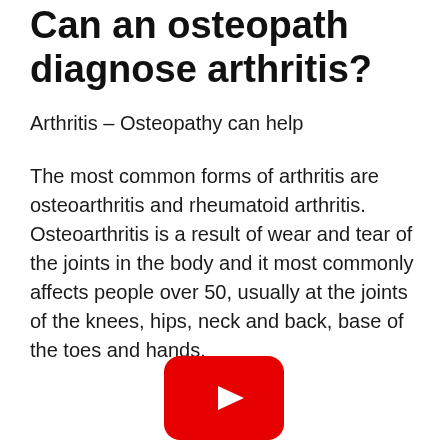Can an osteopath diagnose arthritis?
Arthritis – Osteopathy can help
The most common forms of arthritis are osteoarthritis and rheumatoid arthritis. Osteoarthritis is a result of wear and tear of the joints in the body and it most commonly affects people over 50, usually at the joints of the knees, hips, neck and back, base of the toes and hands.
[Figure (other): YouTube play button icon — red rounded rectangle with white triangle play symbol]